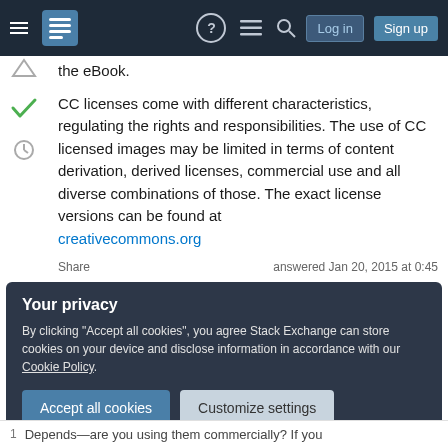Navigation bar with hamburger menu, logo, help, chat, search icons, Log in and Sign up buttons
the eBook.
CC licenses come with different characteristics, regulating the rights and responsibilities. The use of CC licensed images may be limited in terms of content derivation, derived licenses, commercial use and all diverse combinations of those. The exact license versions can be found at creativecommons.org
Share  answered Jan 20, 2015 at 0:45
Your privacy
By clicking "Accept all cookies", you agree Stack Exchange can store cookies on your device and disclose information in accordance with our Cookie Policy.
1 Depends—are you using them commercially? If you